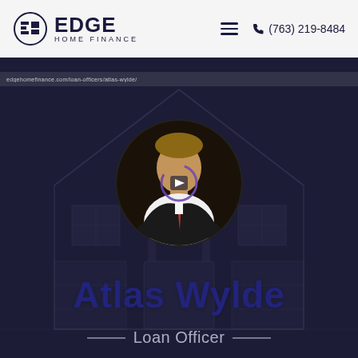[Figure (logo): Edge Home Finance logo with circle icon and company name]
(763) 219-8484
[Figure (photo): Circular profile photo of Atlas Wylde, a loan officer in a suit, with a loading spinner overlay, set against a house background]
Atlas Wylde
Loan Officer